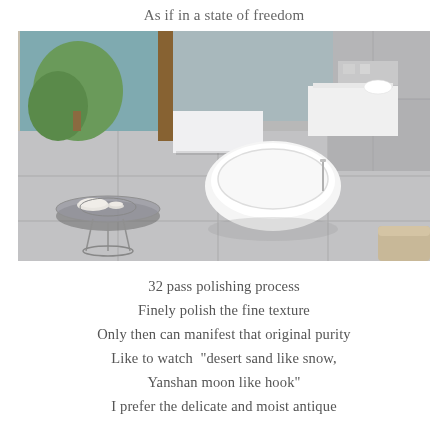As if in a state of freedom
[Figure (photo): Modern luxury bathroom with large grey stone/tile flooring and walls, featuring a freestanding white oval bathtub in the center, a round glass side table with tea set in the foreground left, white bench and shelving unit in the background, large windows with natural light and greenery outside.]
32 pass polishing process
Finely polish the fine texture
Only then can manifest that original purity
Like to watch "desert sand like snow,
Yanshan moon like hook"
I prefer the delicate and moist antique